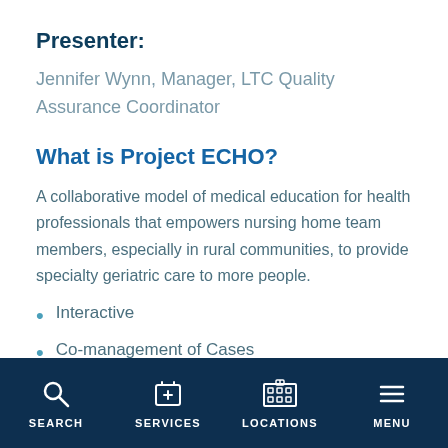Presenter:
Jennifer Wynn, Manager, LTC Quality Assurance Coordinator
What is Project ECHO?
A collaborative model of medical education for health professionals that empowers nursing home team members, especially in rural communities, to provide specialty geriatric care to more people.
Interactive
Co-management of Cases
SEARCH | SERVICES | LOCATIONS | MENU